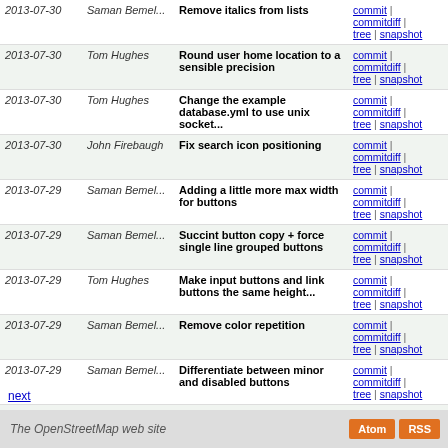| Date | Author | Message | Links |
| --- | --- | --- | --- |
| 2013-07-30 | Saman Bemel... | Remove italics from lists | commit | commitdiff | tree | snapshot |
| 2013-07-30 | Tom Hughes | Round user home location to a sensible precision | commit | commitdiff | tree | snapshot |
| 2013-07-30 | Tom Hughes | Change the example database.yml to use unix socket... | commit | commitdiff | tree | snapshot |
| 2013-07-30 | John Firebaugh | Fix search icon positioning | commit | commitdiff | tree | snapshot |
| 2013-07-29 | Saman Bemel... | Adding a little more max width for buttons | commit | commitdiff | tree | snapshot |
| 2013-07-29 | Saman Bemel... | Succint button copy + force single line grouped buttons | commit | commitdiff | tree | snapshot |
| 2013-07-29 | Tom Hughes | Make input buttons and link buttons the same height... | commit | commitdiff | tree | snapshot |
| 2013-07-29 | Saman Bemel... | Remove color repetition | commit | commitdiff | tree | snapshot |
| 2013-07-29 | Saman Bemel... | Differentiate between minor and disabled buttons | commit | commitdiff | tree | snapshot |
| 2013-07-29 | Tom Hughes | Remove geolink class from add note button while adding... | commit | commitdiff | tree | snapshot |
| 2013-07-29 | John Firebaugh | Correct sprite CSS for permalink (#352) | commit | commitdiff | tree | snapshot |
next
The OpenStreetMap web site